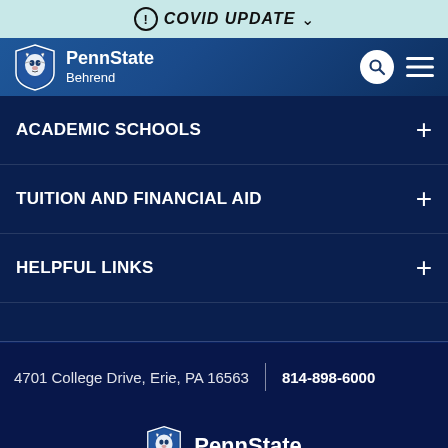! COVID UPDATE
[Figure (logo): Penn State Behrend logo with lion shield and text]
ACADEMIC SCHOOLS
TUITION AND FINANCIAL AID
HELPFUL LINKS
4701 College Drive, Erie, PA 16563 | 814-898-6000
[Figure (logo): Penn State logo at bottom of page]